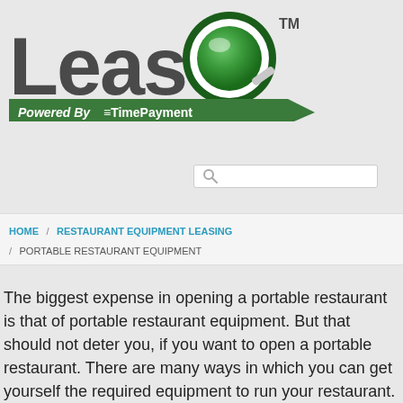[Figure (logo): LeaseQ logo with green Q symbol and 'Powered By TimePayment' tagline on green banner]
[Figure (screenshot): Search bar with magnifying glass icon]
HOME / RESTAURANT EQUIPMENT LEASING / PORTABLE RESTAURANT EQUIPMENT
The biggest expense in opening a portable restaurant is that of portable restaurant equipment. But that should not deter you, if you want to open a portable restaurant. There are many ways in which you can get yourself the required equipment to run your restaurant.